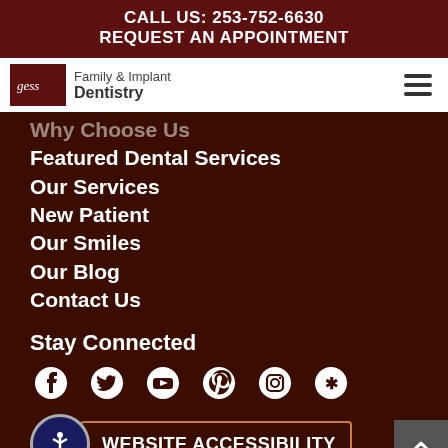CALL US: 253-752-6630
REQUEST AN APPOINTMENT
[Figure (logo): Gess Family & Implant Dentistry logo with dark red background icon and text]
Why Choose Us
Featured Dental Services
Our Services
New Patient
Our Smiles
Our Blog
Contact Us
Stay Connected
[Figure (infographic): Social media icons: Facebook, Twitter, YouTube, Pinterest, Instagram, Yelp]
WEBSITE ACCESSIBILITY